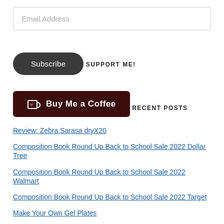Email Address
Subscribe
SUPPORT ME!
[Figure (other): Buy Me a Coffee button with cup icon and heart]
RECENT POSTS
Review: Zebra Sarasa dryX20
Composition Book Round Up Back to School Sale 2022 Dollar Tree
Composition Book Round Up Back to School Sale 2022 Walmart
Composition Book Round Up Back to School Sale 2022 Target
Make Your Own Gel Plates